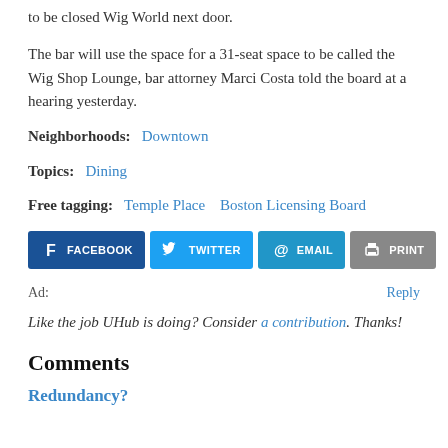to be closed Wig World next door.
The bar will use the space for a 31-seat space to be called the Wig Shop Lounge, bar attorney Marci Costa told the board at a hearing yesterday.
Neighborhoods: Downtown
Topics: Dining
Free tagging: Temple Place   Boston Licensing Board
[Figure (other): Social share buttons: Facebook, Twitter, Email, Print]
Ad: Reply
Like the job UHub is doing? Consider a contribution. Thanks!
Comments
Redundancy?